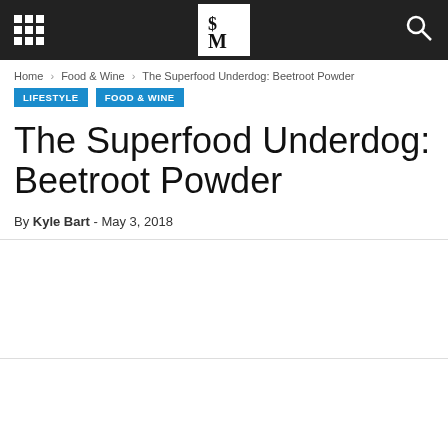[Navigation bar with grid icon, SM logo, search icon]
Home › Food & Wine › The Superfood Underdog: Beetroot Powder
LIFESTYLE   FOOD & WINE
The Superfood Underdog: Beetroot Powder
By Kyle Bart - May 3, 2018